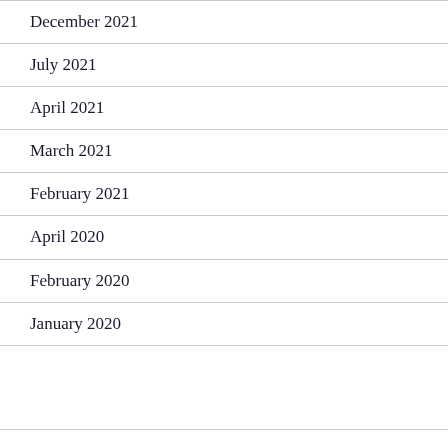December 2021
July 2021
April 2021
March 2021
February 2021
April 2020
February 2020
January 2020